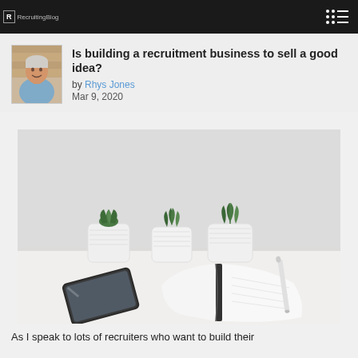R RecruitingBlog
Is building a recruitment business to sell a good idea?
by Rhys Jones
Mar 9, 2020
[Figure (photo): A white desk with three small succulent plants in white pots, an open notebook with a pen, and a smartphone lying flat]
As I speak to lots of recruiters who want to build their